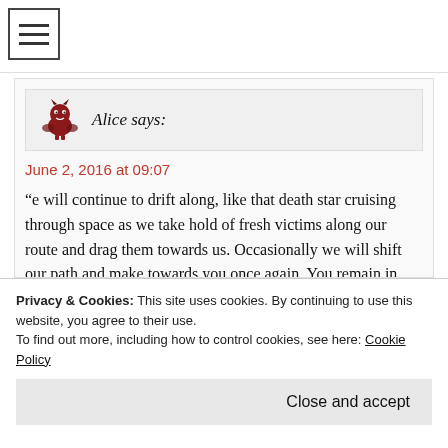≡ (hamburger menu icon)
Alice says:
June 2, 2016 at 09:07
“e will continue to drift along, like that death star cruising through space as we take hold of fresh victims along our route and drag them towards us. Occasionally we will shift our path and make towards you once again. You remain in one place at your peril as we will approach you and once
Privacy & Cookies: This site uses cookies. By continuing to use this website, you agree to their use.
To find out more, including how to control cookies, see here: Cookie Policy
Close and accept